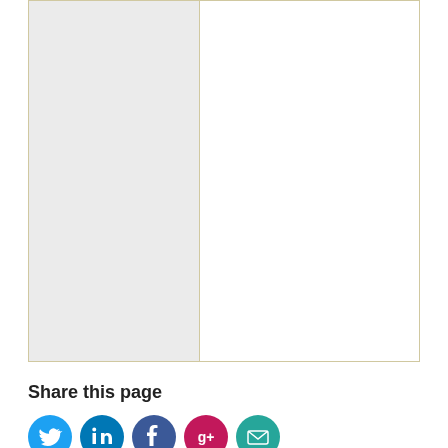[Figure (other): A two-column table or chart area with a gray left column and white right column, bordered with a tan/gold border line.]
Share this page
[Figure (other): Row of social media sharing icons: Twitter (blue), LinkedIn (dark blue), Facebook (blue), Google+ or Pinterest (red/pink), and email (teal/cyan).]